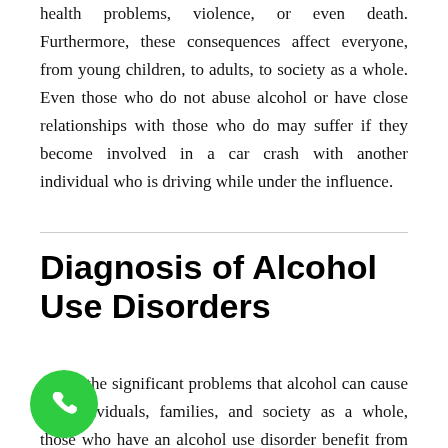health problems, violence, or even death. Furthermore, these consequences affect everyone, from young children, to adults, to society as a whole. Even those who do not abuse alcohol or have close relationships with those who do may suffer if they become involved in a car crash with another individual who is driving while under the influence.
Diagnosis of Alcohol Use Disorders
Given the significant problems that alcohol can cause for individuals, families, and society as a whole, those who have an alcohol use disorder benefit from receiving treatment to help them to stop drinking and recover from the harmful effects of alcohol. The treatment process usually involves a diagnosis of an